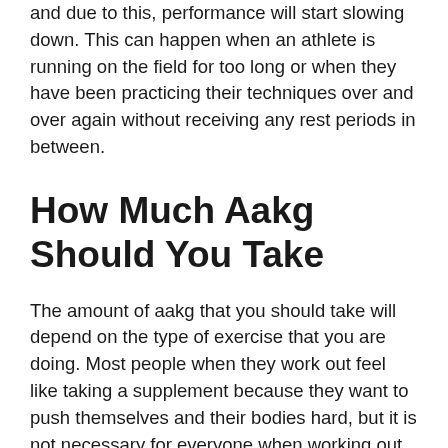and due to this, performance will start slowing down. This can happen when an athlete is running on the field for too long or when they have been practicing their techniques over and over again without receiving any rest periods in between.
How Much Aakg Should You Take
The amount of aakg that you should take will depend on the type of exercise that you are doing. Most people when they work out feel like taking a supplement because they want to push themselves and their bodies hard, but it is not necessary for everyone when working out. The proper dosage for bodybuilding is to start with a low dosage of